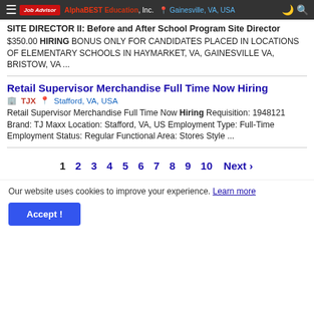AlphaBEST Education, Inc. | Job Advisor | Gainesville, VA, USA
SITE DIRECTOR II: Before and After School Program Site Director
$350.00 HIRING BONUS ONLY FOR CANDIDATES PLACED IN LOCATIONS OF ELEMENTARY SCHOOLS IN HAYMARKET, VA, GAINESVILLE VA, BRISTOW, VA ...
Retail Supervisor Merchandise Full Time Now Hiring
TJX | Stafford, VA, USA
Retail Supervisor Merchandise Full Time Now Hiring Requisition: 1948121 Brand: TJ Maxx Location: Stafford, VA, US Employment Type: Full-Time Employment Status: Regular Functional Area: Stores Style ...
1 2 3 4 5 6 7 8 9 10 Next ›
Our website uses cookies to improve your experience. Learn more
Accept !